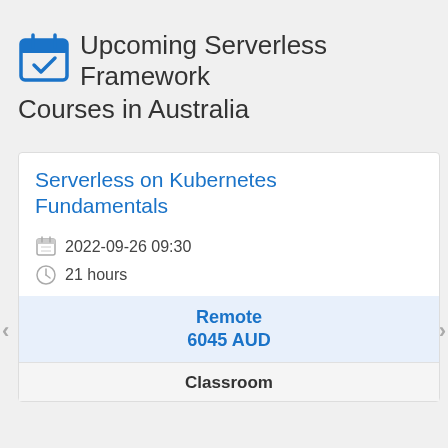Upcoming Serverless Framework Courses in Australia
Serverless on Kubernetes Fundamentals
2022-09-26 09:30
21 hours
Remote
6045 AUD
Classroom